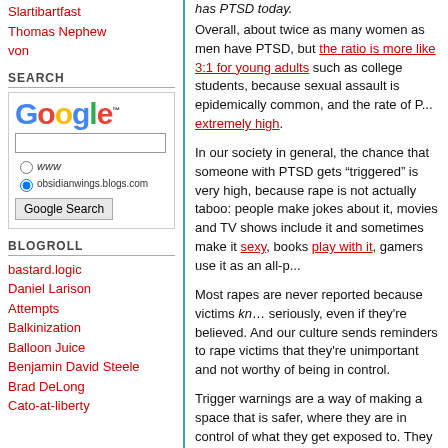Slartibartfast
Thomas Nephew
von
SEARCH
[Figure (logo): Google search box with logo, text input, www and obsidianwings.blogs.com radio buttons, and Google Search button]
BLOGROLL
bastard.logic
Daniel Larison
Attempts
Balkinization
Balloon Juice
Benjamin David Steele
Brad DeLong
Cato-at-liberty
has PTSD today. Overall, about twice as many women as men have PTSD, but the ratio is more like 3:1 for young adults such as college students, because sexual assault is epidemically common, and the rate of PTSD from sexual assault is extremely high.
In our society in general, the chance that someone with PTSD gets "triggered" is very high, because rape is not actually taboo: people make jokes about it, movies and TV shows include it and sometimes make it sexy, books play with it, gamers use it as an all-p...
Most rapes are never reported because victims kn... seriously, even if they're believed. And our culture sends reminders to rape victims that they're unimportant and not worthy of being in control.
Trigger warnings are a way of making a space that is safer, where they are in control of what they get exposed to. They are the opposite of censorship, because they give people who want to discuss difficult topics the freedom to do so without restraining the movement of people who might be hurt.
Personally, I don't use trigger warnings to be "poli..." admiring display of my sensitivity or whatever tha... use them because of specific people who I know... have varying degrees of rape PTSD. I am doing it... respect their feelings and I don't want to hurt the...